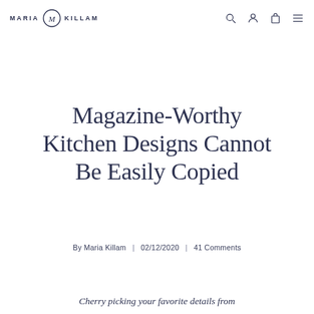MARIA KILLAM
Magazine-Worthy Kitchen Designs Cannot Be Easily Copied
By Maria Killam | 02/12/2020 | 41 Comments
Cherry picking your favorite details from